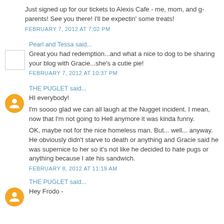Just signed up for our tickets to Alexis Cafe - me, mom, and g-parents! See you there! I'll be expectin' some treats!
FEBRUARY 7, 2012 AT 7:02 PM
Pearl and Tessa said...
Great you had redemption...and what a nice to dog to be sharing your blog with Gracie...she's a cutie pie!
FEBRUARY 7, 2012 AT 10:37 PM
THE PUGLET said...
HI everybody!
I'm soooo glad we can all laugh at the Nugget incident. I mean, now that I'm not going to Hell anymore it was kinda funny.
OK, maybe not for the nice homeless man. But... well... anyway. He obviously didn't starve to death or anything and Gracie said he was supernice to her so it's not like he decided to hate pugs or anything because I ate his sandwich.
FEBRUARY 8, 2012 AT 11:19 AM
THE PUGLET said...
Hey Frodo -